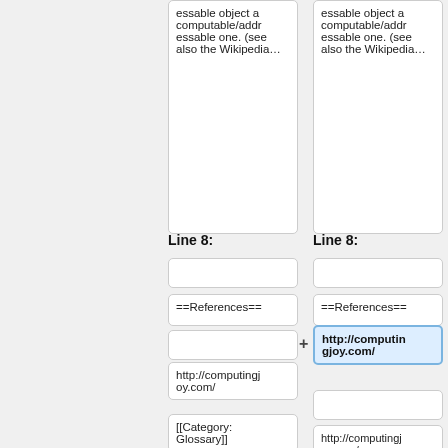essable object a computable/addressable one. (see also the Wikipedia…
essable object a computable/addressable one. (see also the Wikipedia…
Line 8:
Line 8:
==References==
==References==
http://computingjoy.com/
http://computingjoy.com/
http://computingjoy.com/
[[Category:Glossary]]
[[Category:Glossary]]